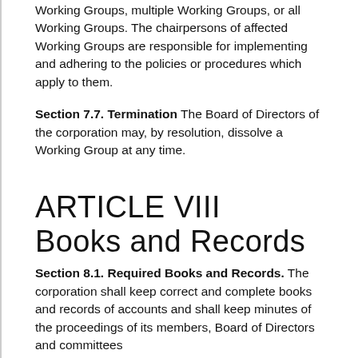Working Groups, multiple Working Groups, or all Working Groups. The chairpersons of affected Working Groups are responsible for implementing and adhering to the policies or procedures which apply to them.
Section 7.7. Termination The Board of Directors of the corporation may, by resolution, dissolve a Working Group at any time.
ARTICLE VIII
Books and Records
Section 8.1. Required Books and Records. The corporation shall keep correct and complete books and records of accounts and shall keep minutes of the proceedings of its members, Board of Directors and committees